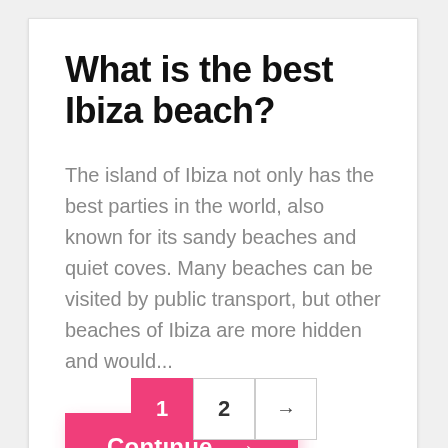What is the best Ibiza beach?
The island of Ibiza not only has the best parties in the world, also known for its sandy beaches and quiet coves. Many beaches can be visited by public transport, but other beaches of Ibiza are more hidden and would...
Continue →
1  2  →